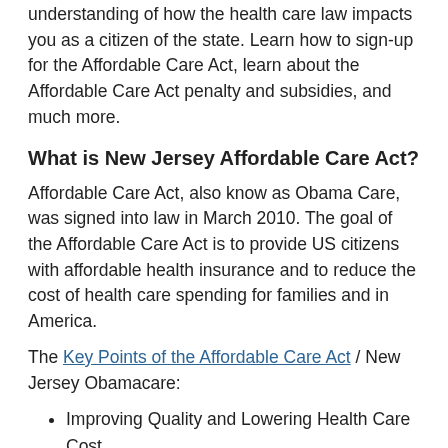understanding of how the health care law impacts you as a citizen of the state.  Learn how to sign-up for the Affordable Care Act, learn about the Affordable Care Act penalty and subsidies, and much more.
What is New Jersey Affordable Care Act?
Affordable Care Act, also know as Obama Care, was signed into law in March 2010.  The goal of the Affordable Care Act is to provide US citizens with affordable health insurance and to reduce the cost of health care spending for families and in America.
The Key Points of the Affordable Care Act / New Jersey Obamacare:
Improving Quality and Lowering Health Care Cost
Access to Affordable Health Care
New Consumer Protections